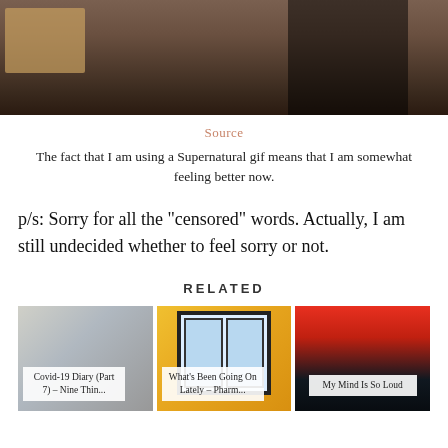[Figure (photo): Top portion of a photo showing people at a table with wooden box, dark background]
Source
The fact that I am using a Supernatural gif means that I am somewhat feeling better now.
p/s: Sorry for all the "censored" words. Actually, I am still undecided whether to feel sorry or not.
RELATED
[Figure (photo): Covid-19 Diary (Part 7) – Nine Thin... - photo of books/papers]
[Figure (photo): What's Been Going On Lately – Pharm... - photo of yellow building windows]
[Figure (photo): My Mind Is So Loud - photo of sunset over ocean]